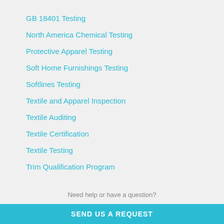GB 18401 Testing
North America Chemical Testing
Protective Apparel Testing
Soft Home Furnishings Testing
Softlines Testing
Textile and Apparel Inspection
Textile Auditing
Textile Certification
Textile Testing
Trim Qualification Program
Need help or have a question?
SEND US A REQUEST